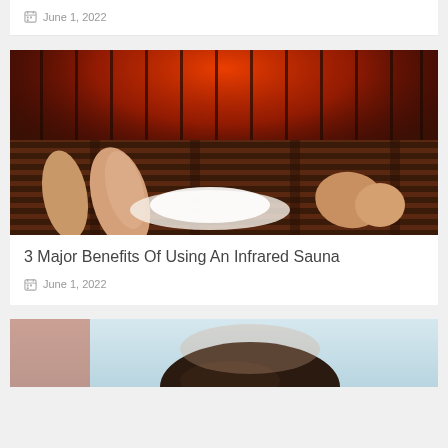June 1, 2022
[Figure (photo): Interior of an infrared sauna with red glowing light on wooden ceiling, person lying on wooden bench with legs visible]
3 Major Benefits Of Using An Infrared Sauna
June 1, 2022
[Figure (photo): Top of a person's head with dark hair against a light blue background, partially cropped]